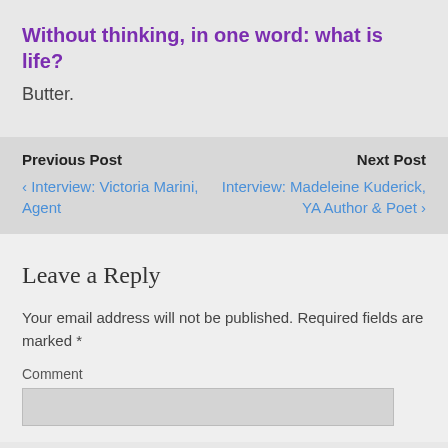Without thinking, in one word: what is life?
Butter.
Previous Post
‹ Interview: Victoria Marini, Agent
Next Post
Interview: Madeleine Kuderick, YA Author & Poet ›
Leave a Reply
Your email address will not be published. Required fields are marked *
Comment